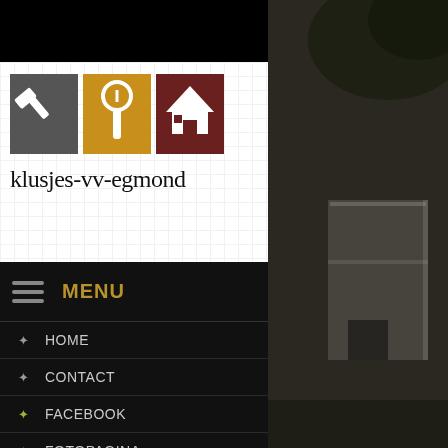[Figure (logo): klusjes-vv-egmond logo with three icon squares (hammer on grey, screwdriver on gold/yellow, house on dark red) and text 'klusjes-vv-egmond' in serif font below]
≡   MENU
✦  HOME
✦  CONTACT
✦  FACEBOOK
✦  FOTOPAGINA